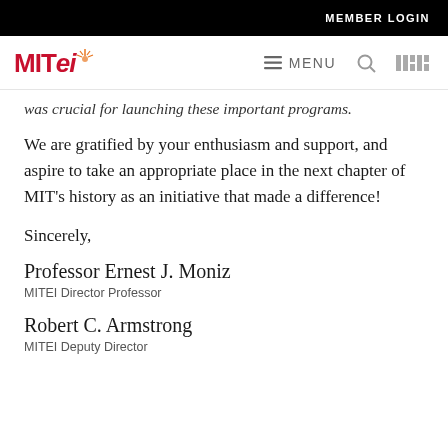MEMBER LOGIN
[Figure (logo): MITei logo with red text and spark graphic, navigation bar with MENU, search, and MIT logo]
…was crucial for launching these important programs.
We are gratified by your enthusiasm and support, and aspire to take an appropriate place in the next chapter of MIT's history as an initiative that made a difference!
Sincerely,
Professor Ernest J. Moniz
MITEI Director Professor
Robert C. Armstrong
MITEI Deputy Director